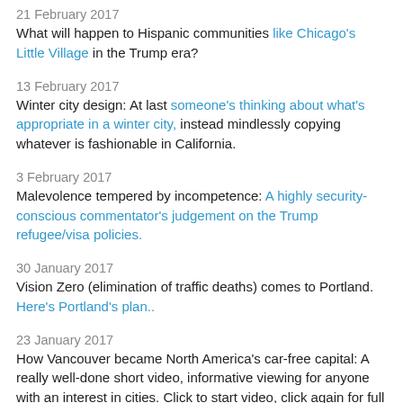21 February 2017
What will happen to Hispanic communities like Chicago's Little Village in the Trump era?
13 February 2017
Winter city design: At last someone's thinking about what's appropriate in a winter city, instead mindlessly copying whatever is fashionable in California.
3 February 2017
Malevolence tempered by incompetence: A highly security-conscious commentator's judgement on the Trump refugee/visa policies.
30 January 2017
Vision Zero (elimination of traffic deaths) comes to Portland. Here's Portland's plan..
23 January 2017
How Vancouver became North America's car-free capital: A really well-done short video, informative viewing for anyone with an interest in cities. Click to start video, click again for full screen.